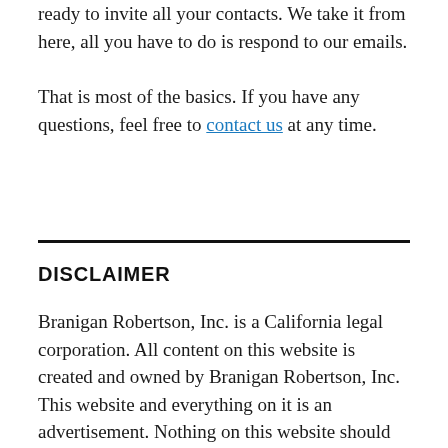ready to invite all your contacts. We take it from here, all you have to do is respond to our emails.
That is most of the basics. If you have any questions, feel free to contact us at any time.
DISCLAIMER
Branigan Robertson, Inc. is a California legal corporation. All content on this website is created and owned by Branigan Robertson, Inc. This website and everything on it is an advertisement. Nothing on this website should